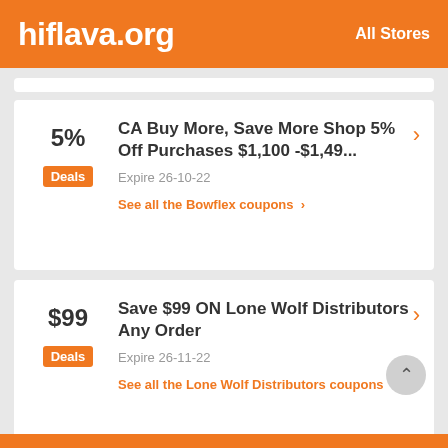hiflava.org   All Stores
5% — Deals — CA Buy More, Save More Shop 5% Off Purchases $1,100 -$1,49... — Expire 26-10-22 — See all the Bowflex coupons
$99 — Deals — Save $99 ON Lone Wolf Distributors Any Order — Expire 26-11-22 — See all the Lone Wolf Distributors coupons